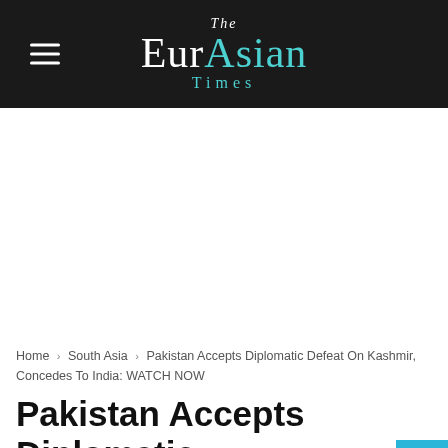The EurAsian Times
Home › South Asia › Pakistan Accepts Diplomatic Defeat On Kashmir, Concedes To India: WATCH NOW
Pakistan Accepts Diplomatic Defeat On Kashmir, Concedes